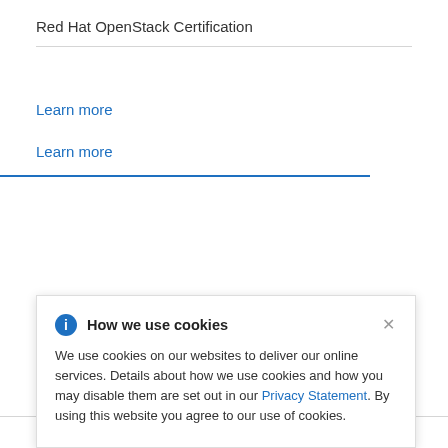Red Hat OpenStack Certification
Learn more
Learn more
How we use cookies
We use cookies on our websites to deliver our online services. Details about how we use cookies and how you may disable them are set out in our Privacy Statement. By using this website you agree to our use of cookies.
Red Hat Partner Connect is a program for Technology